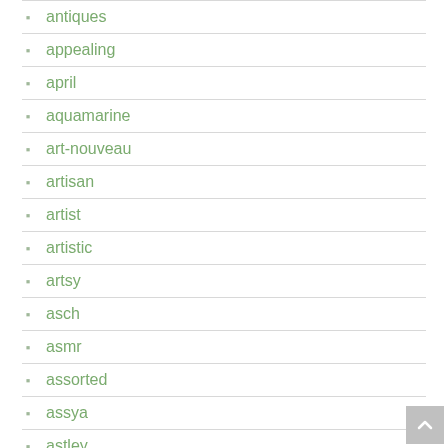antiques
appealing
april
aquamarine
art-nouveau
artisan
artist
artistic
artsy
asch
asmr
assorted
assya
astley